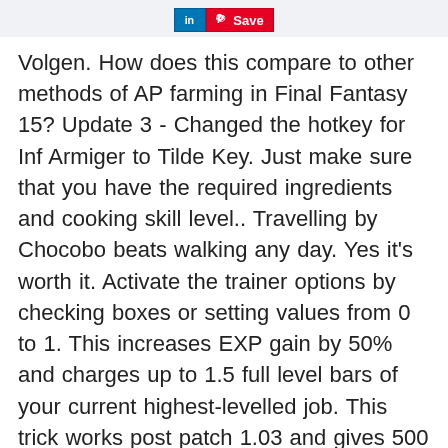in Save
Volgen. How does this compare to other methods of AP farming in Final Fantasy 15? Update 3 - Changed the hotkey for Inf Armiger to Tilde Key. Just make sure that you have the required ingredients and cooking skill level.. Travelling by Chocobo beats walking any day. Yes it's worth it. Activate the trainer options by checking boxes or setting values from 0 to 1. This increases EXP gain by 50% and charges up to 1.5 full level bars of your current highest-levelled job. This trick works post patch 1.03 and gives 500 AP points in 15 minutes. Almost every cinematic feature is on a toggle key, and there are many, from DoF and lens flares to lens dirt, anamorphic camera distortion, and godrays. FYI everyone, here's how you get 500,000+ EXP before getting an EXP multiplier from a hotel. All of the scripts crashed for me, until after I finished the couple